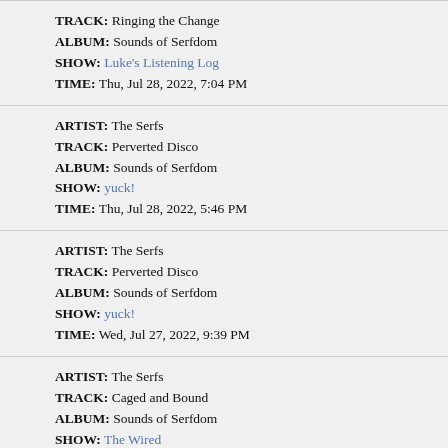TRACK: Ringing the Change
ALBUM: Sounds of Serfdom
SHOW: Luke's Listening Log
TIME: Thu, Jul 28, 2022, 7:04 PM
ARTIST: The Serfs
TRACK: Perverted Disco
ALBUM: Sounds of Serfdom
SHOW: yuck!
TIME: Thu, Jul 28, 2022, 5:46 PM
ARTIST: The Serfs
TRACK: Perverted Disco
ALBUM: Sounds of Serfdom
SHOW: yuck!
TIME: Wed, Jul 27, 2022, 9:39 PM
ARTIST: The Serfs
TRACK: Caged and Bound
ALBUM: Sounds of Serfdom
SHOW: The Wired
TIME: Tue, Jul 26, 2022, 10:23 AM